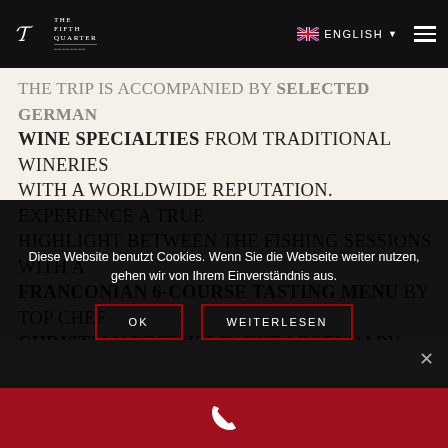THE FIFTH QUARTER | English
THE TRIP IS ACCOMPANIED BY SELECTED GERMAN WINE SPECIALTIES from traditional wineries with a worldwide reputation. Experience a true highlight between the fishing sessions with a FRANCONIAN 6-COURSE TASTING MENU by top chef CHRISTIAN BRIESKE in the legendary "SCHWARZER ADLER" (Black Eagle) in the northern area of NUREMBERG. We dive deep into the large bottle...
Diese Website benutzt Cookies. Wenn Sie die Webseite weiter nutzen, gehen wir von Ihrem Einverständnis aus.
OK
WEITERLESEN